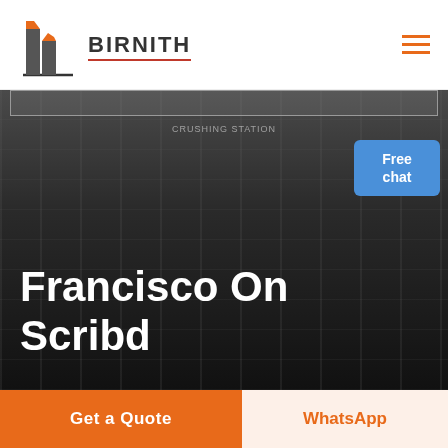BIRNITH
[Figure (photo): Industrial crushing station machinery with coal aggregate, heavy equipment with conveyor belts and mechanical arms against a dark industrial background. Text 'CRUSHING STATION' visible on the machine.]
Francisco On Scribd
Get a Quote
WhatsApp